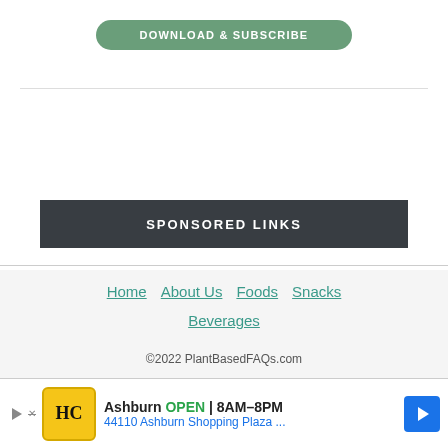[Figure (other): Green rounded button with text DOWNLOAD & SUBSCRIBE]
SPONSORED LINKS
Home   About Us   Foods   Snacks   Beverages   ©2022 PlantBasedFAQs.com
[Figure (other): Advertisement banner: Ashburn OPEN 8AM-8PM, 44110 Ashburn Shopping Plaza ...]